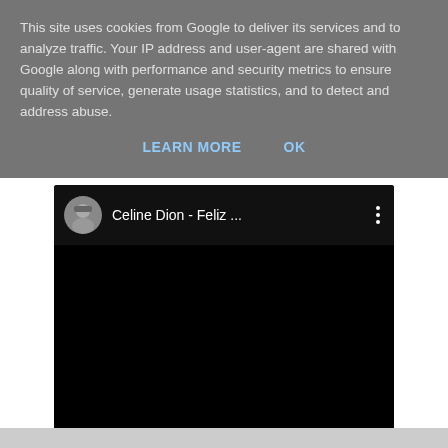This site uses cookies from Google to deliver its services and to analyze traffic. Your IP address and user-agent are shared with Google along with performance and security metrics to ensure quality of service, generate usage statistics, and to detect and address abuse.
LEARN MORE    OK
[Figure (screenshot): YouTube-style embedded video player showing 'Celine Dion - Feliz ...' with a user avatar thumbnail and three-dot menu icon. The video body is a black rectangle.]